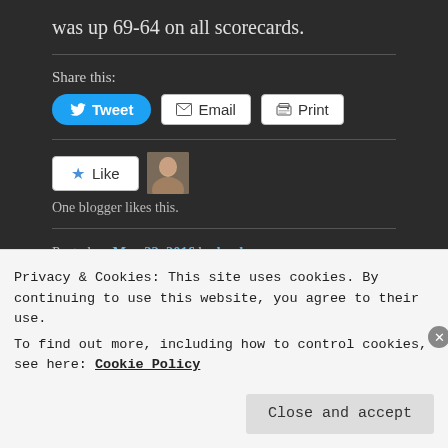was up 69-64 on all scorecards.
Share this:
One blogger likes this.
Posted on May 22, 2016 by boxhernews
Posted in boxing, Headbangers Gym, Minnie Larry
Privacy & Cookies: This site uses cookies. By continuing to use this website, you agree to their use.
To find out more, including how to control cookies, see here: Cookie Policy
Close and accept